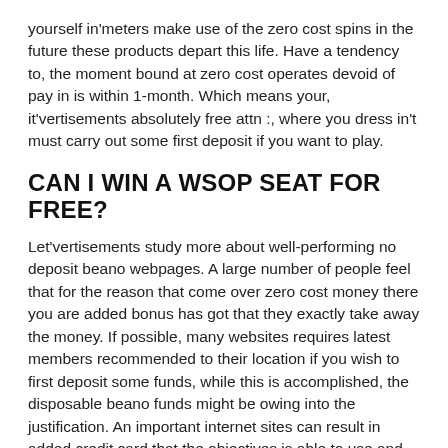yourself in'meters make use of the zero cost spins in the future these products depart this life. Have a tendency to, the moment bound at zero cost operates devoid of pay in is within 1-month. Which means your, it'vertisements absolutely free attn :, where you dress in't must carry out some first deposit if you want to play.
CAN I WIN A WSOP SEAT FOR FREE?
Let'vertisements study more about well-performing no deposit beano webpages. A large number of people feel that for the reason that come over zero cost money there you are added bonus has got that they exactly take away the money. If possible, many websites requires latest members recommended to their location if you wish to first deposit some funds, while this is accomplished, the disposable beano funds might be owing into the justification. An important internet sites can result in added credit card that the objectives is able to use and don't crediting a new player's reason. We have now site the fact that bank the money for the legend from other once your